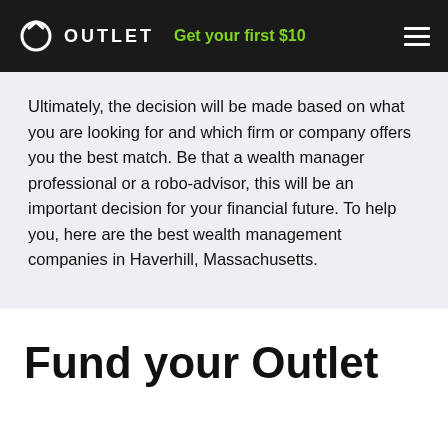OUTLET   Get your first $10
Ultimately, the decision will be made based on what you are looking for and which firm or company offers you the best match. Be that a wealth manager professional or a robo-advisor, this will be an important decision for your financial future. To help you, here are the best wealth management companies in Haverhill, Massachusetts.
Fund your Outlet